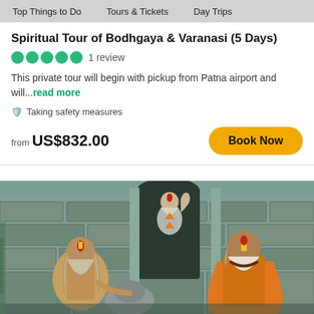Top Things to Do   Tours & Tickets   Day Trips
Spiritual Tour of Bodhgaya & Varanasi (5 Days)
1 review
This private tour will begin with pickup from Patna airport and will...read more
Taking safety measures
from US$832.00
Book Now
[Figure (photo): Three Hindu sadhus (holy men) at a stone temple. Two are seated in the foreground wearing traditional markings and orange robes, one is visible in an archway behind them with body paint and raised hand in a blessing gesture. The temple walls are made of ancient carved stone.]